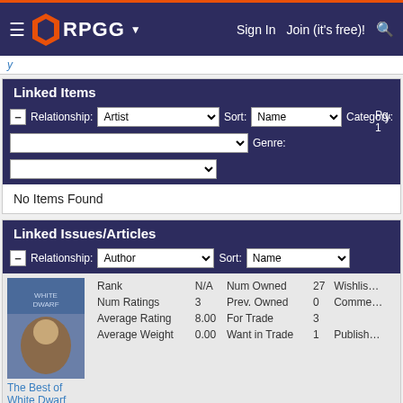RPGG — Sign In  Join (it's free)!
Linked Items
Relationship: Artist  Sort: Name  Category:  Genre:  Pg. 1
No Items Found
Linked Issues/Articles
Relationship: Author  Sort: Name
| Field | Value | Field | Value | Field |
| --- | --- | --- | --- | --- |
| Rank | N/A | Num Owned | 27 | Wishlist |
| Num Ratings | 3 | Prev. Owned | 0 | Comment |
| Average Rating | 8.00 | For Trade | 3 |  |
| Average Weight | 0.00 | Want in Trade | 1 | Published |
The Best of White Dwarf Articles (Volume I)
| Field | Value | Field | Value | Field |
| --- | --- | --- | --- | --- |
| Rank | N/A | Num Owned | 23 | Wishlist |
| Num Ratings | 3 | Prev. Owned | 1 | Comment |
| Average Rating | 8.17 | For Trade | 0 |  |